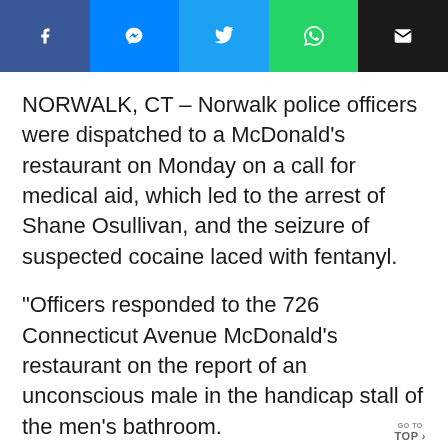[Figure (other): Social media share bar with five buttons: Facebook (dark blue), Messenger (blue), Twitter (light blue), WhatsApp (teal/green), Email (black)]
NORWALK, CT – Norwalk police officers were dispatched to a McDonald's restaurant on Monday on a call for medical aid, which led to the arrest of Shane Osullivan, and the seizure of suspected cocaine laced with fentanyl.
“Officers responded to the 726 Connecticut Avenue McDonald’s restaurant on the report of an unconscious male in the handicap stall of the men’s bathroom.